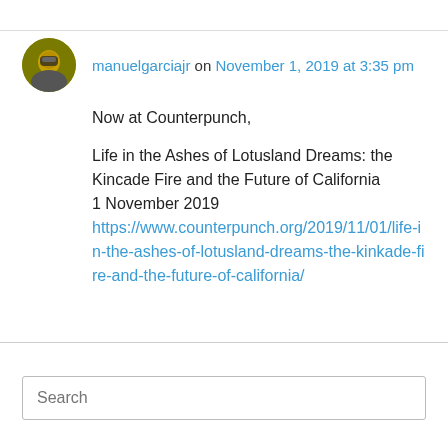manuelgarciajr on November 1, 2019 at 3:35 pm
Now at Counterpunch,

Life in the Ashes of Lotusland Dreams: the Kincade Fire and the Future of California
1 November 2019
https://www.counterpunch.org/2019/11/01/life-in-the-ashes-of-lotusland-dreams-the-kinkade-fire-and-the-future-of-california/
Search